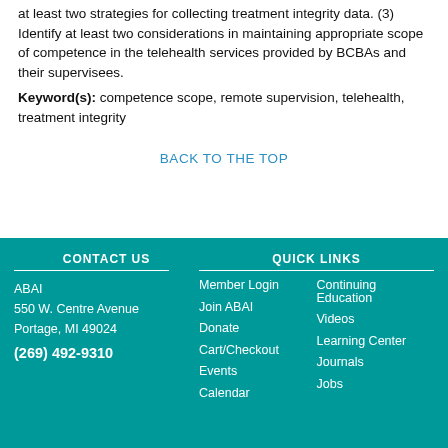at least two strategies for collecting treatment integrity data. (3) Identify at least two considerations in maintaining appropriate scope of competence in the telehealth services provided by BCBAs and their supervisees.
Keyword(s): competence scope, remote supervision, telehealth, treatment integrity
BACK TO THE TOP
CONTACT US | QUICK LINKS | ABAI | 550 W. Centre Avenue | Portage, MI 49024 | (269) 492-9310 | Member Login | Join ABAI | Donate | Cart/Checkout | Events | Calendar | Continuing Education | Videos | Learning Center | Journals | Jobs